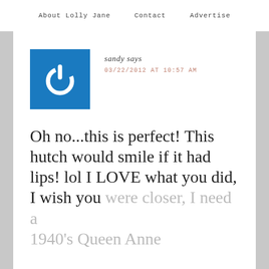About Lolly Jane   Contact   Advertise
[Figure (illustration): Blue square avatar icon with white power button symbol]
sandy says
03/22/2012 AT 10:57 AM
Oh no...this is perfect! This hutch would smile if it had lips! lol I LOVE what you did, I wish you were closer, I need a 1940's Queen Anne